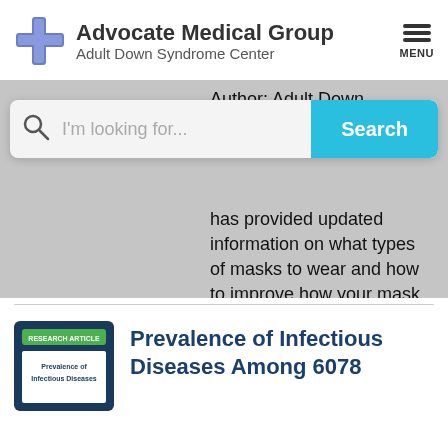[Figure (logo): Advocate Medical Group Adult Down Syndrome Center logo with blue cross icon]
Advocate Medical Group
Adult Down Syndrome Center
Author: Adult Down Syndrome
[Figure (screenshot): Search bar with magnifying glass icon, placeholder text 'I'm looking for...' and a cyan Search button]
has provided updated information on what types of masks to wear and how to improve how your mask fits .  The Centers for Disease Control and Prevention (CDC) recom
[Figure (screenshot): Research article thumbnail with dark blue border and green 'RESEARCH ARTICLE' label, showing 'Prevalence of Infectious Diseases']
Prevalence of Infectious Diseases Among 6078